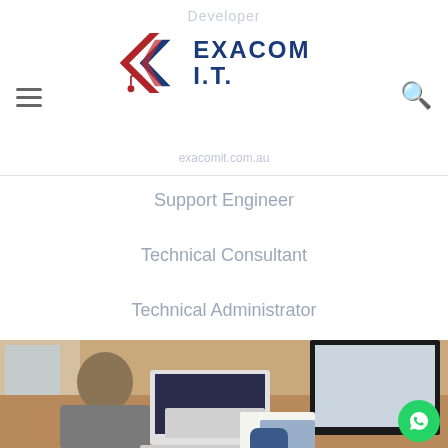EXACOM I.T.
Developer
Support Engineer
Technical Consultant
Technical Administrator
[Figure (photo): Person sitting at a desk working with multiple computer screens and laptops, viewed from behind/side]